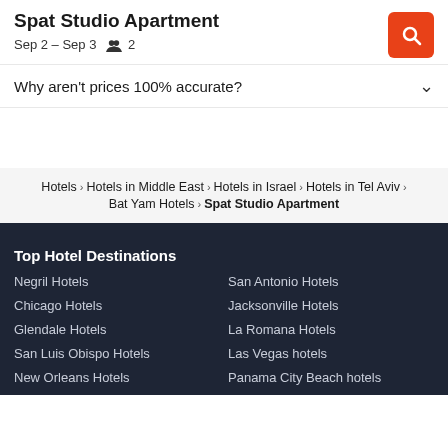Spat Studio Apartment
Sep 2 – Sep 3  👥 2
Why aren't prices 100% accurate?
Hotels › Hotels in Middle East › Hotels in Israel › Hotels in Tel Aviv › Bat Yam Hotels › Spat Studio Apartment
Top Hotel Destinations
Negril Hotels
Chicago Hotels
Glendale Hotels
San Luis Obispo Hotels
New Orleans Hotels
San Antonio Hotels
Jacksonville Hotels
La Romana Hotels
Las Vegas hotels
Panama City Beach hotels